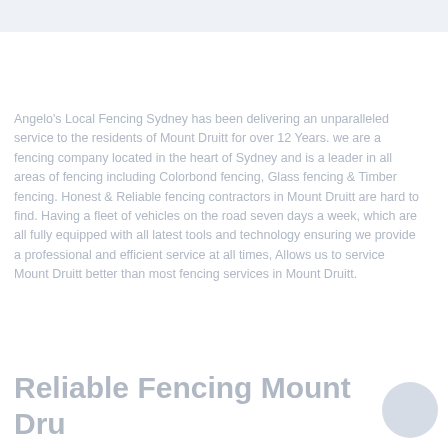Angelo's Local Fencing Sydney has been delivering an unparalleled service to the residents of Mount Druitt for over 12 Years. we are a fencing company located in the heart of Sydney and is a leader in all areas of fencing including Colorbond fencing, Glass fencing & Timber fencing. Honest & Reliable fencing contractors in Mount Druitt are hard to find. Having a fleet of vehicles on the road seven days a week, which are all fully equipped with all latest tools and technology ensuring we provide a professional and efficient service at all times, Allows us to service Mount Druitt better than most fencing services in Mount Druitt.
Reliable Fencing Mount Dru Services